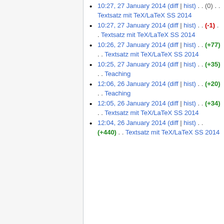2014
10:27, 27 January 2014 (diff | hist) . . (0) . . Textsatz mit TeX/LaTeX SS 2014
10:27, 27 January 2014 (diff | hist) . . (-1) . . Textsatz mit TeX/LaTeX SS 2014
10:26, 27 January 2014 (diff | hist) . . (+77) . . Textsatz mit TeX/LaTeX SS 2014
10:25, 27 January 2014 (diff | hist) . . (+35) . . Teaching
12:06, 26 January 2014 (diff | hist) . . (+20) . . Teaching
12:05, 26 January 2014 (diff | hist) . . (+34) . . Textsatz mit TeX/LaTeX SS 2014
12:04, 26 January 2014 (diff | hist) . . (+440) . . Textsatz mit TeX/LaTeX SS 2014